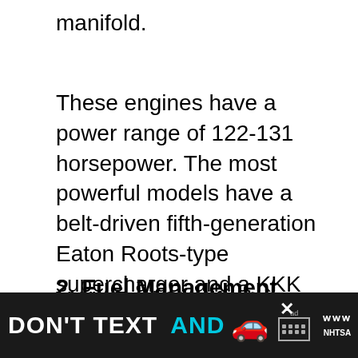manifold.
These engines have a power range of 122-131 horsepower. The most powerful models have a belt-driven fifth-generation Eaton Roots-type supercharger and a KKK K03 turbocharger. This combination eliminates the illusion of turbo lag while producing much greater power and torque.
2. Fuel Management
VW’s Fuel Stratified Injection (FSI) technology is used in the TFSI models. A low-pressure pump within the fuel tank and a camshaft-driven single-piston high-pressure injector...
[Figure (other): Advertisement banner: DON'T TEXT AND [car emoji] with ad badge and NHTSA branding]